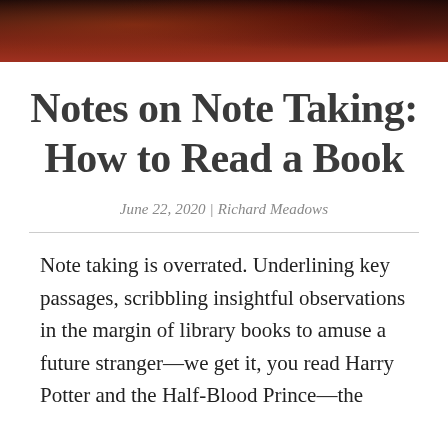[Figure (photo): Dark reddish-brown hero image at the top of the page, appearing to show a dim, atmospheric background]
Notes on Note Taking: How to Read a Book
June 22, 2020 | Richard Meadows
Note taking is overrated. Underlining key passages, scribbling insightful observations in the margin of library books to amuse a future stranger—we get it, you read Harry Potter and the Half-Blood Prince—the